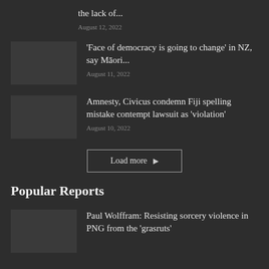the lack of...
August 12, 2022
'Face of democracy is going to change' in NZ, say Māori...
August 11, 2022
Amnesty, Civicus condemn Fiji spelling mistake contempt lawsuit as 'violation'
August 10, 2022
Load more
Popular Reports
Paul Wolffram: Resisting sorcery violence in PNG from the 'grasruts'